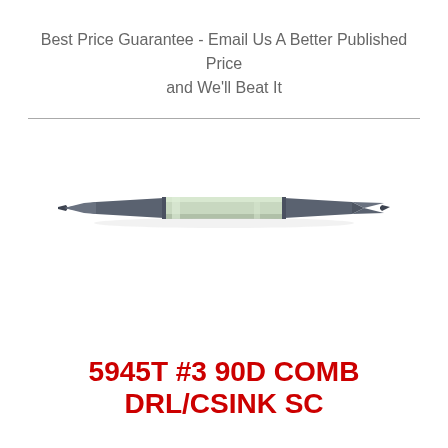Best Price Guarantee - Email Us A Better Published Price and We'll Beat It
[Figure (photo): A double-ended combination center drill and countersink tool (5945T #3 90D COMB DRL/CSINK SC) shown horizontally. The tool has dark gray/charcoal carbide ends with conical tips on both sides and a lighter silver/green metallic center section.]
5945T #3 90D COMB DRL/CSINK SC